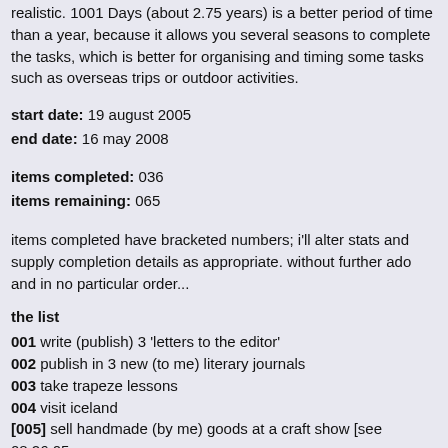realistic. 1001 Days (about 2.75 years) is a better period of time than a year, because it allows you several seasons to complete the tasks, which is better for organising and timing some tasks such as overseas trips or outdoor activities.
start date: 19 august 2005
end date: 16 may 2008
items completed: 036
items remaining: 065
items completed have bracketed numbers; i'll alter stats and supply completion details as appropriate. without further ado and in no particular order...
the list
001 write (publish) 3 'letters to the editor'
002 publish in 3 new (to me) literary journals
003 take trapeze lessons
004 visit iceland
[005] sell handmade (by me) goods at a craft show [see 08.26.05,